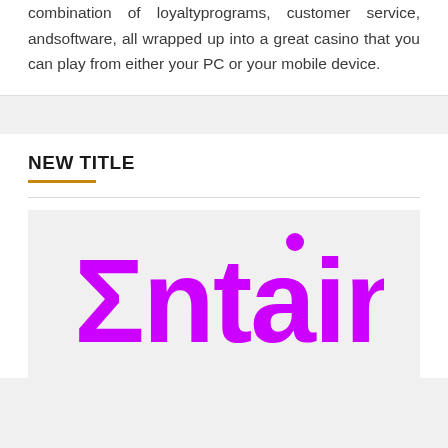combination of loyaltyprograms, customer service, andsoftware, all wrapped up into a great casino that you can play from either your PC or your mobile device.
NEW TITLE
[Figure (logo): Entain company logo in bright purple/magenta color with a Sigma symbol replacing the 'E', on a light gray background]